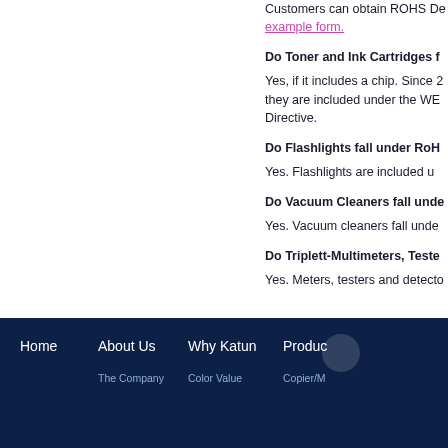How can I obtain an ROHS De... Customers can obtain ROHS D...
example form.
Do Toner and Ink Cartridges f...
Yes, if it includes a chip. Since 2... they are included under the WE... Directive.
Do Flashlights fall under RoH...
Yes. Flashlights are included u...
Do Vacuum Cleaners fall unde...
Yes. Vacuum cleaners fall unde...
Do Triplett-Multimeters, Teste...
Yes. Meters, testers and detecto...
Home  About Us  Why Katun  Produ...  The Company  Color Value  Copier/M...